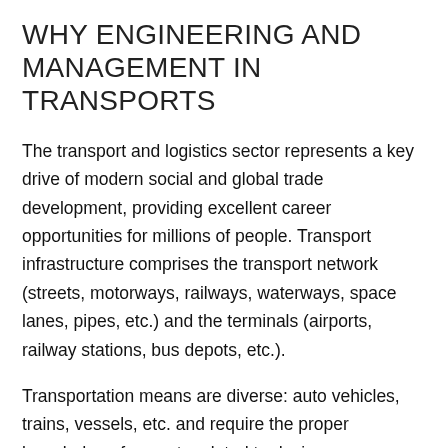WHY ENGINEERING AND MANAGEMENT IN TRANSPORTS
The transport and logistics sector represents a key drive of modern social and global trade development, providing excellent career opportunities for millions of people. Transport infrastructure comprises the transport network (streets, motorways, railways, waterways, space lanes, pipes, etc.) and the terminals (airports, railway stations, bus depots, etc.).
Transportation means are diverse: auto vehicles, trains, vessels, etc. and require the proper knowledge of aspects related to design construction, diagnose and exploitation, road traffic and management. Transport management and engineering aim to optimize transport systems, to increase safety, improve the quality of transport services and protect